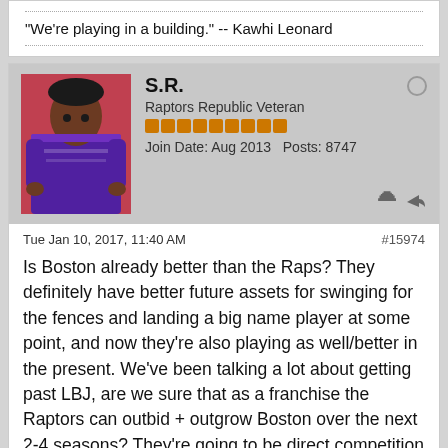"We're playing in a building." -- Kawhi Leonard
[Figure (photo): Avatar image of user S.R., person in purple outfit against red/pink background]
S.R.
Raptors Republic Veteran
Join Date: Aug 2013  Posts: 8747
Tue Jan 10, 2017, 11:40 AM  #15974
Is Boston already better than the Raps? They definitely have better future assets for swinging for the fences and landing a big name player at some point, and now they're also playing as well/better in the present. We've been talking a lot about getting past LBJ, are we sure that as a franchise the Raptors can outbid + outgrow Boston over the next 2-4 seasons? They're going to be direct competition for any big name trade target.
"We're playing in a building." -- Kawhi Leonard